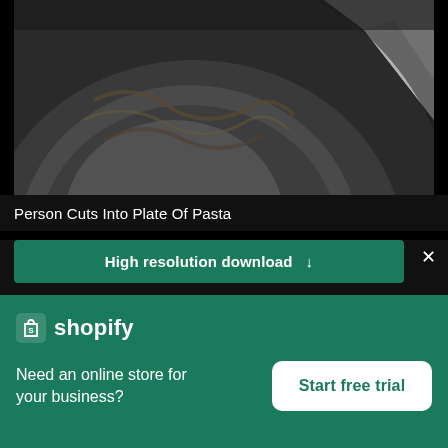[Figure (photo): Close-up photo of a dark ceramic plate with pasta being cut, white napkin or item visible in upper right, dark/grey tones.]
Person Cuts Into Plate Of Pasta
High resolution download ↓
[Figure (logo): Shopify logo: white shopping bag icon with letter S, followed by white text 'shopify']
Need an online store for your business?
Start free trial